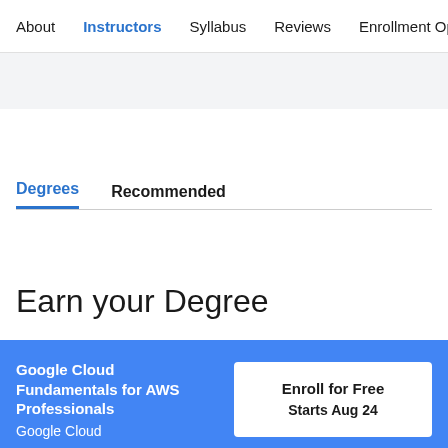About  Instructors  Syllabus  Reviews  Enrollment Opt
Degrees   Recommended
Earn your Degree
Google Cloud Fundamentals for AWS Professionals
Google Cloud
Enroll for Free
Starts Aug 24